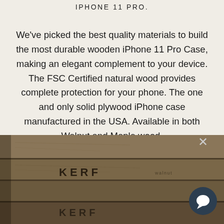iPHONE 11 PRO.
We've picked the best quality materials to build the most durable wooden iPhone 11 Pro Case, making an elegant complement to your device. The FSC Certified natural wood provides complete protection for your phone. The one and only solid plywood iPhone case manufactured in the USA. Available in both Walnut and Maple wood.
[Figure (photo): Close-up photo of stacked wooden iPhone cases with 'KERF' branding engraved on them, showing layered plywood construction. A dark chat widget circle and close X button appear overlaid on the image.]